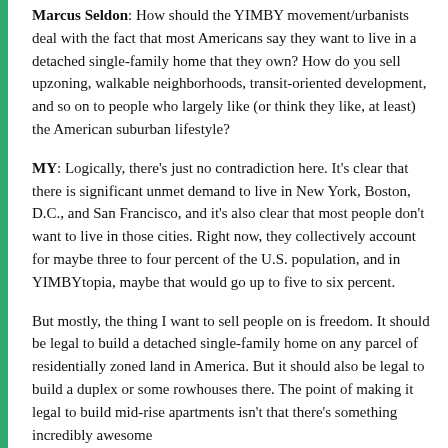Marcus Seldon: How should the YIMBY movement/urbanists deal with the fact that most Americans say they want to live in a detached single-family home that they own? How do you sell upzoning, walkable neighborhoods, transit-oriented development, and so on to people who largely like (or think they like, at least) the American suburban lifestyle?
MY: Logically, there's just no contradiction here. It's clear that there is significant unmet demand to live in New York, Boston, D.C., and San Francisco, and it's also clear that most people don't want to live in those cities. Right now, they collectively account for maybe three to four percent of the U.S. population, and in YIMBYtopia, maybe that would go up to five to six percent.
But mostly, the thing I want to sell people on is freedom. It should be legal to build a detached single-family home on any parcel of residentially zoned land in America. But it should also be legal to build a duplex or some rowhouses there. The point of making it legal to build mid-rise apartments isn't that there's something incredibly awesome about it; it would be...